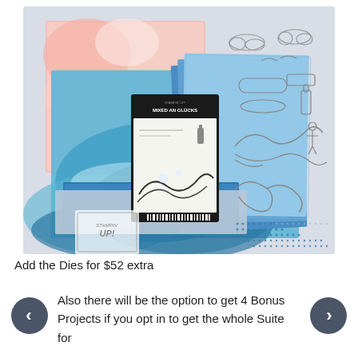[Figure (photo): Product flat-lay photo showing Stampin' Up! 'Mixed an Glücks' stamp set with ocean/wave theme. Includes decorative paper sheets with watercolor ocean/pink splash designs, blue coordinating cardstock, a stamp set box with wave imagery, die-cut outlines of waves, clouds, bottles, and a rhinestone/dot embellishment sheet. Stampin' Up! logo visible in lower left.]
Add the Dies for $52 extra
Also there will be the option to get 4 Bonus Projects if you opt in to get the whole Suite for